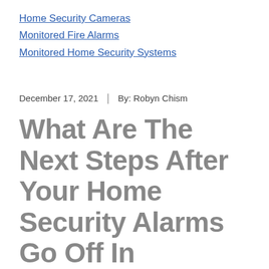Home Security Cameras
Monitored Fire Alarms
Monitored Home Security Systems
December 17, 2021  |  By: Robyn Chism
What Are The Next Steps After Your Home Security Alarms Go Off In Saginaw?
A security system is designed to protect your home. But what actually transpires if your home security alarms go off in Saginaw? What should you do to